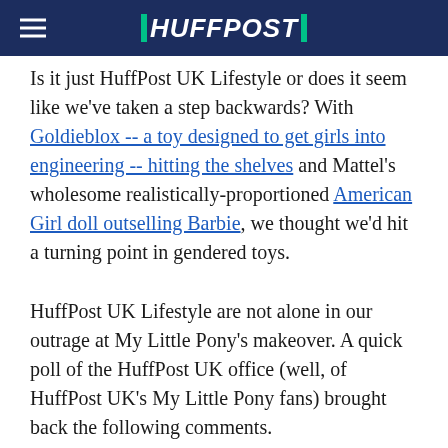HUFFPOST
Is it just HuffPost UK Lifestyle or does it seem like we've taken a step backwards? With Goldieblox -- a toy designed to get girls into engineering -- hitting the shelves and Mattel's wholesome realistically-proportioned American Girl doll outselling Barbie, we thought we'd hit a turning point in gendered toys.
HuffPost UK Lifestyle are not alone in our outrage at My Little Pony's makeover. A quick poll of the HuffPost UK office (well, of HuffPost UK's My Little Pony fans) brought back the following comments.
"It's so sad! What is happening to this world?" - Sarah Dean, deputy entertainment